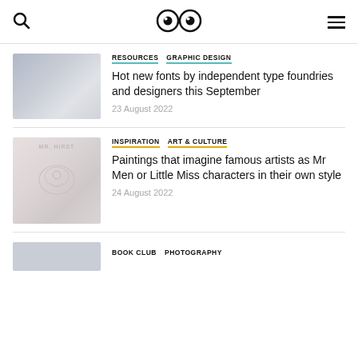Search | Logo (eyes) | Menu
RESOURCES   GRAPHIC DESIGN
Hot new fonts by independent type foundries and designers this September
23 August 2022
INSPIRATION   ART & CULTURE
Paintings that imagine famous artists as Mr Men or Little Miss characters in their own style
24 August 2022
BOOK CLUB   PHOTOGRAPHY